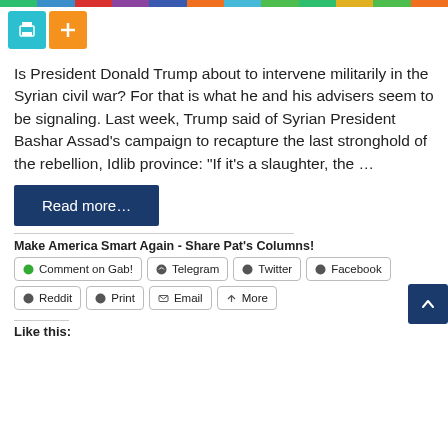[Figure (other): Colored top navigation bar with multiple colored segments]
[Figure (other): Two icon buttons: print (teal) and plus (orange)]
Is President Donald Trump about to intervene militarily in the Syrian civil war? For that is what he and his advisers seem to be signaling. Last week, Trump said of Syrian President Bashar Assad’s campaign to recapture the last stronghold of the rebellion, Idlib province: “If it’s a slaughter, the …
Read more…
Make America Smart Again - Share Pat’s Columns!
Comment on Gab!
Telegram
Twitter
Facebook
Reddit
Print
Email
More
Like this: